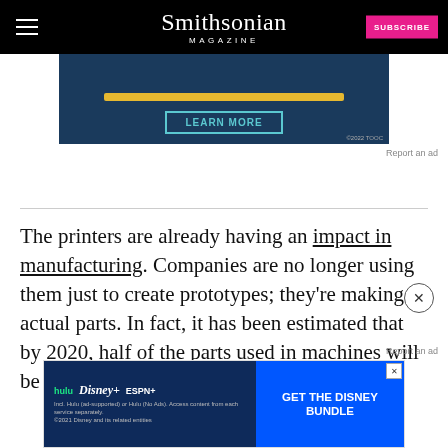Smithsonian MAGAZINE
[Figure (screenshot): Advertisement banner with dark blue background, yellow bar, and LEARN MORE button. ©2022 TOCC text in corner.]
Report an ad
The printers are already having an impact in manufacturing. Companies are no longer using them just to create prototypes; they're making actual parts. In fact, it has been estimated that by 2020, half of the parts used in machines will be designed and manufactured by printers, and that many large projects and
Report an ad
[Figure (screenshot): Disney Bundle advertisement banner showing Hulu, Disney+, ESPN+ logos with GET THE DISNEY BUNDLE call to action button. Fine print about subscription terms.]